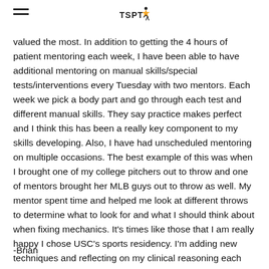TSPT logo and hamburger menu
valued the most.  In addition to getting the 4 hours of patient mentoring each week, I have been able to have additional mentoring on manual skills/special tests/interventions every Tuesday with two mentors.  Each week we pick a body part and go through each test and different manual skills.  They say practice makes perfect and I think this has been a really key component to my skills developing.  Also, I have had unscheduled mentoring on multiple occasions.  The best example of this was when I brought one of my college pitchers out to throw and one of mentors brought her MLB guys out to throw as well.  My mentor spent time and helped me look at different throws to determine what to look for and what I should think about when fixing mechanics.  It's times like those that I am really happy I chose USC's sports residency.  I'm adding new techniques and reflecting on my clinical reasoning each week and have seen a marked improvement.
-Brian